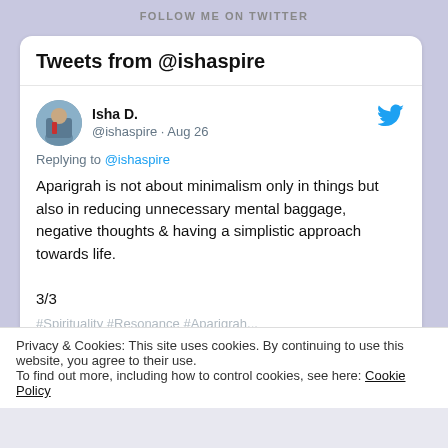FOLLOW ME ON TWITTER
Tweets from @ishaspire
Isha D. @ishaspire · Aug 26
Replying to @ishaspire
Aparigrah is not about minimalism only in things but also in reducing unnecessary mental baggage, negative thoughts & having a simplistic approach towards life.

3/3
Privacy & Cookies: This site uses cookies. By continuing to use this website, you agree to their use.
To find out more, including how to control cookies, see here: Cookie Policy
Close and accept